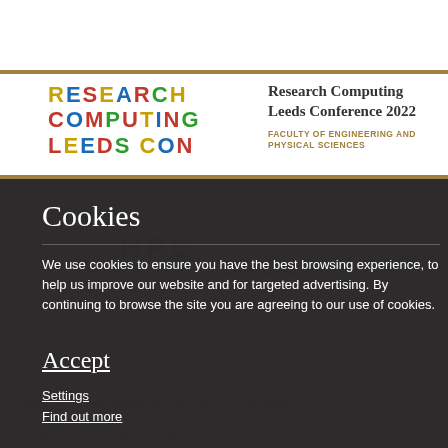[Figure (logo): Research Computing Leeds Conference logo with colorful letters]
Research Computing Leeds Conference 2022
FACULTY OF ENGINEERING AND PHYSICAL SCIENCES
Cookies
We use cookies to ensure you have the best browsing experience, to help us improve our website and for targeted advertising. By continuing to browse the site you are agreeing to our use of cookies.
Accept
Settings
Find out more